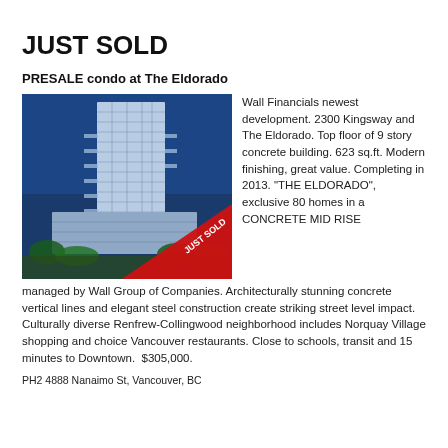JUST SOLD
PRESALE condo at The Eldorado
[Figure (photo): Rendering of The Eldorado condominium tower — a tall modern glass and concrete high-rise building against a blue sky, with a red 'JUST SOLD' diagonal banner in the lower right corner.]
Wall Financials newest development. 2300 Kingsway and The Eldorado. Top floor of 9 story concrete building. 623 sq.ft. Modern finishing, great value. Completing in 2013. "THE ELDORADO", exclusive 80 homes in a CONCRETE MID RISE managed by Wall Group of Companies. Architecturally stunning concrete vertical lines and elegant steel construction create striking street level impact. Culturally diverse Renfrew-Collingwood neighborhood includes Norquay Village shopping and choice Vancouver restaurants. Close to schools, transit and 15 minutes to Downtown.  $305,000.
PH2 4888 Nanaimo St, Vancouver, BC